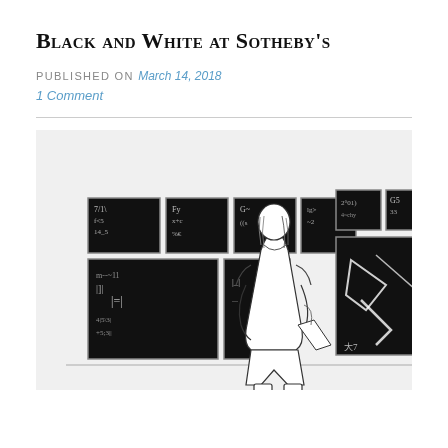Black and White at Sotheby's
PUBLISHED ON March 14, 2018
1 Comment
[Figure (illustration): Line drawing illustration of a woman with shoulder-length hair, wearing a coat and carrying a bag, standing with her back to the viewer and looking at two groupings of black abstract artworks hung on a gallery wall. The left grouping has 4 framed dark works arranged in a 2x2 grid; the right grouping has 7 framed dark works in a staggered arrangement. The scene is rendered in black and white ink style.]